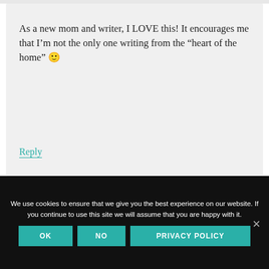As a new mom and writer, I LOVE this! It encourages me that I’m not the only one writing from the “heart of the home” 🙂
Reply
We use cookies to ensure that we give you the best experience on our website. If you continue to use this site we will assume that you are happy with it.